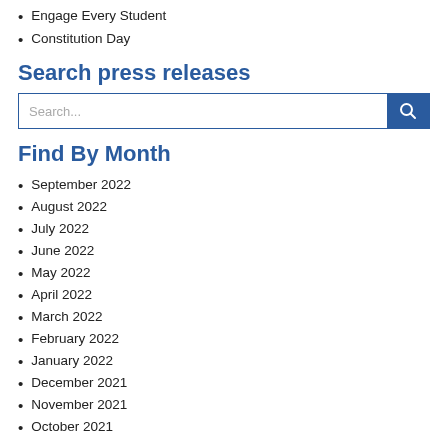Engage Every Student
Constitution Day
Search press releases
Find By Month
September 2022
August 2022
July 2022
June 2022
May 2022
April 2022
March 2022
February 2022
January 2022
December 2021
November 2021
October 2021